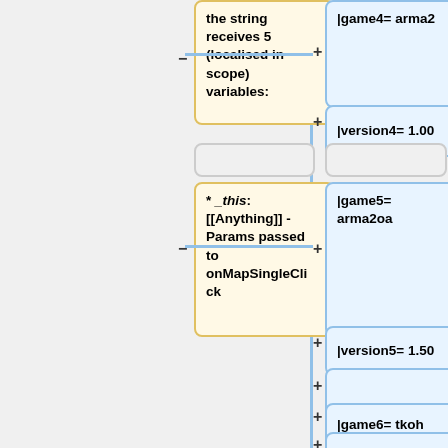[Figure (flowchart): A wiki-style template flowchart showing two columns of connected nodes. Left column contains yellow boxes with descriptions: 'the string receives 5 (localised in scope) variables:' and '* _this: [[Anything]] - Params passed to onMapSingleClick'. Right column contains blue boxes with template parameters: '|game4= arma2', '|version4= 1.00', '|game5= arma2oa', '|version5= 1.50', '|game6= tkoh', '|version6= 1.00'. Nodes are connected by lines with + and - symbols.]